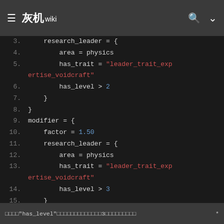灰机wiki (navigation bar)
[Figure (screenshot): Code block showing lines 3-16 of a Stellaris modifier script with syntax highlighting. White/grey text for code, red for string literals (leader_trait_expertise_voidcraft), blue for numbers (2, 3, 1.50).]
"has_level"  3  *